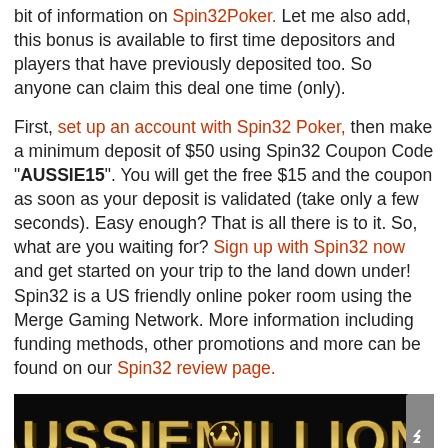bit of information on Spin32Poker. Let me also add, this bonus is available to first time depositors and players that have previously deposited too. So anyone can claim this deal one time (only).
First, set up an account with Spin32 Poker, then make a minimum deposit of $50 using Spin32 Coupon Code "AUSSIE15". You will get the free $15 and the coupon as soon as your deposit is validated (take only a few seconds). Easy enough? That is all there is to it. So, what are you waiting for? Sign up with Spin32 now and get started on your trip to the land down under! Spin32 is a US friendly online poker room using the Merge Gaming Network. More information including funding methods, other promotions and more can be found on our Spin32 review page.
[Figure (illustration): Aussie Millions logo — gold 3D text on black background with a crown emblem]